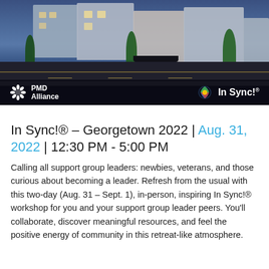[Figure (photo): Night-time photo of a lit-up downtown street with historic buildings, trees, and road. Bottom bar shows PMD Alliance logo on the left and In Sync!® logo on the right on a dark background.]
In Sync!® – Georgetown 2022 | Aug. 31, 2022 | 12:30 PM - 5:00 PM
Calling all support group leaders: newbies, veterans, and those curious about becoming a leader. Refresh from the usual with this two-day (Aug. 31 – Sept. 1), in-person, inspiring In Sync!® workshop for you and your support group leader peers. You'll collaborate, discover meaningful resources, and feel the positive energy of community in this retreat-like atmosphere.